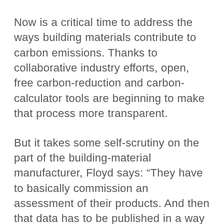Now is a critical time to address the ways building materials contribute to carbon emissions. Thanks to collaborative industry efforts, open, free carbon-reduction and carbon-calculator tools are beginning to make that process more transparent.
But it takes some self-scrutiny on the part of the building-material manufacturer, Floyd says: “They have to basically commission an assessment of their products. And then that data has to be published in a way that’s easily consumed and easily browsed through. You want procurement teams to say, ‘I need concrete that has this compressive strength and this much slump and this much cure time. And I need it within 100 miles of this site.’ And